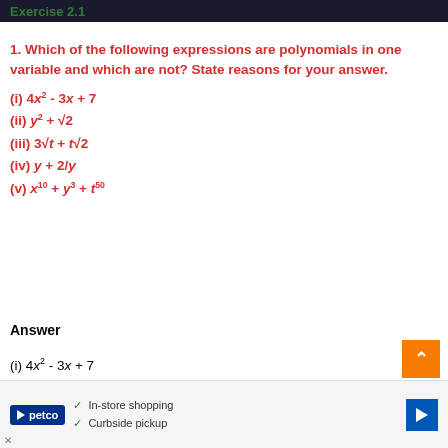Exercise 2.1
1. Which of the following expressions are polynomials in one variable and which are not? State reasons for your answer.
(i) 4x² - 3x + 7
(ii) y² + √2
(iii) 3√t + t√2
(iv) y + 2/y
(v) x¹⁰ + y³ + t⁵⁰
Answer
(i) 4x² - 3x + 7
There is one variable with whole number
powers